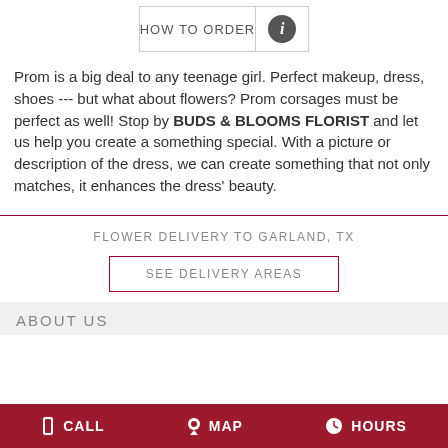[Figure (other): HOW TO ORDER button with info icon]
Prom is a big deal to any teenage girl. Perfect makeup, dress, shoes --- but what about flowers? Prom corsages must be perfect as well! Stop by BUDS & BLOOMS FLORIST and let us help you create a something special. With a picture or description of the dress, we can create something that not only matches, it enhances the dress' beauty.
FLOWER DELIVERY TO GARLAND, TX
SEE DELIVERY AREAS
ABOUT US
CALL  MAP  HOURS